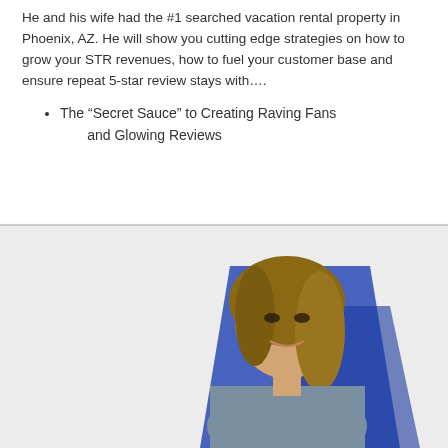He and his wife had the #1 searched vacation rental property in Phoenix, AZ. He will show you cutting edge strategies on how to grow your STR revenues, how to fuel your customer base and ensure repeat 5-star review stays with….
The “Secret Sauce” to Creating Raving Fans and Glowing Reviews
[Figure (photo): Headshot photo of a woman with wavy blonde-highlighted hair, wearing a grey blazer, against a blue background.]